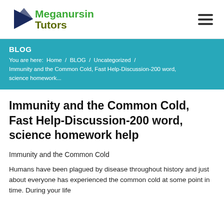[Figure (logo): Meganursing Tutors logo with dark blue arrow/triangle icon and green text 'Meganursing' with olive/dark yellow text 'Tutors']
BLOG
You are here:  Home / BLOG / Uncategorized / Immunity and the Common Cold, Fast Help-Discussion-200 word, science homework...
Immunity and the Common Cold, Fast Help-Discussion-200 word, science homework help
Immunity and the Common Cold
Humans have been plagued by disease throughout history and just about everyone has experienced the common cold at some point in time. During your life